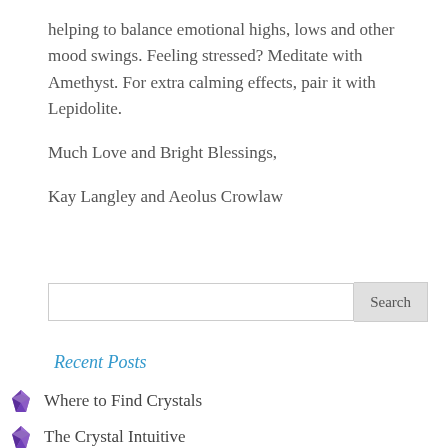helping to balance emotional highs, lows and other mood swings.  Feeling stressed?  Meditate with Amethyst.  For extra calming effects, pair it with Lepidolite.
Much Love and Bright Blessings,
Kay Langley and Aeolus Crowlaw
Search
Recent Posts
Where to Find Crystals
The Crystal Intuitive
Importance of Your Crystal Journal